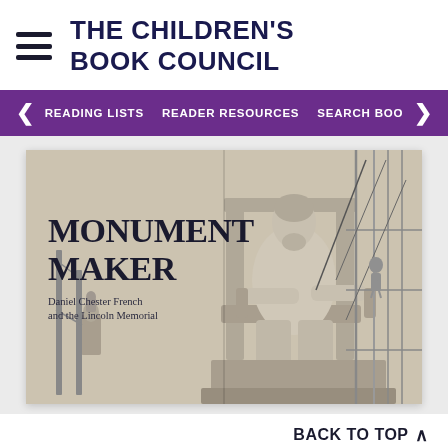THE CHILDREN'S BOOK COUNCIL
READING LISTS   READER RESOURCES   SEARCH BOO
[Figure (photo): Book cover of 'Monument Maker: Daniel Chester French and the Lincoln Memorial'. Shows a grayscale illustration of a large seated Lincoln statue being constructed, with scaffolding and workers visible. The title 'MONUMENT MAKER' is in large bold serif text, with subtitle 'Daniel Chester French and the Lincoln Memorial' below.]
BACK TO TOP